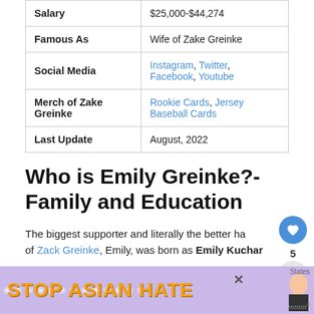| Salary | $25,000-$44,274 |
| Famous As | Wife of Zake Greinke |
| Social Media | Instagram, Twitter, Facebook, Youtube |
| Merch of Zake Greinke | Rookie Cards, Jersey Baseball Cards |
| Last Update | August, 2022 |
Who is Emily Greinke?- Family and Education
The biggest supporter and literally the better half of Zack Greinke, Emily, was born as Emily Kuchar so...